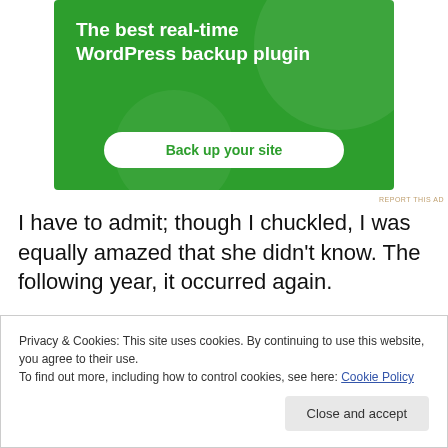[Figure (other): Green advertisement banner for WordPress backup plugin with white text and a 'Back up your site' button]
REPORT THIS AD
I have to admit; though I chuckled, I was equally amazed that she didn't know. The following year, it occurred again.
Privacy & Cookies: This site uses cookies. By continuing to use this website, you agree to their use.
To find out more, including how to control cookies, see here: Cookie Policy
Close and accept